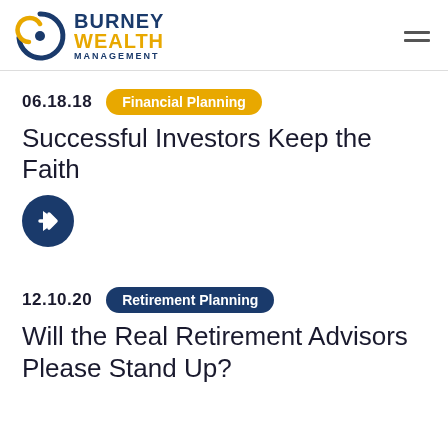Burney Wealth Management
06.18.18
Financial Planning
Successful Investors Keep the Faith
[Figure (other): Dark blue circular arrow button icon]
12.10.20
Retirement Planning
Will the Real Retirement Advisors Please Stand Up?